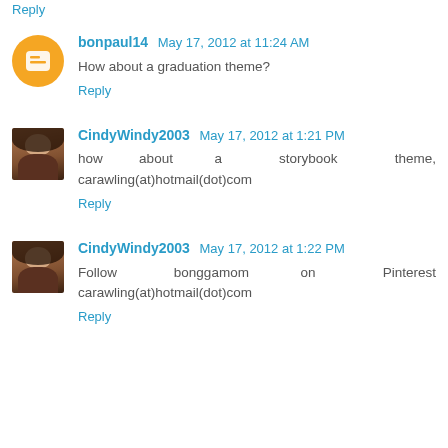Reply
bonpaul14  May 17, 2012 at 11:24 AM
How about a graduation theme?
Reply
CindyWindy2003  May 17, 2012 at 1:21 PM
how about a storybook theme, carawling(at)hotmail(dot)com
Reply
CindyWindy2003  May 17, 2012 at 1:22 PM
Follow bonggamom on Pinterest carawling(at)hotmail(dot)com
Reply